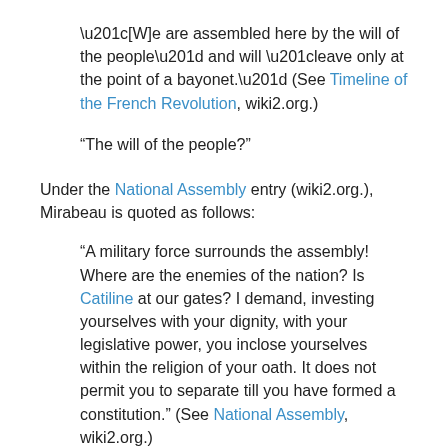“[W]e are assembled here by the will of the people” and will “leave only at the point of a bayonet.” (See Timeline of the French Revolution, wiki2.org.)
“The will of the people?”
Under the National Assembly entry (wiki2.org.), Mirabeau is quoted as follows:
“A military force surrounds the assembly! Where are the enemies of the nation? Is Catiline at our gates? I demand, investing yourselves with your dignity, with your legislative power, you inclose yourselves within the religion of your oath. It does not permit you to separate till you have formed a constitution.” (See National Assembly, wiki2.org.)